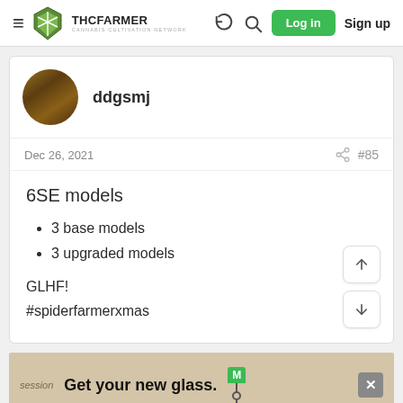THCFarmer - Cannabis Cultivation Network | Log in | Sign up
ddgsmj
Dec 26, 2021 #85
6SE models
3 base models
3 upgraded models
GLHF!
#spiderfarmerxmas
session  Get your new glass.